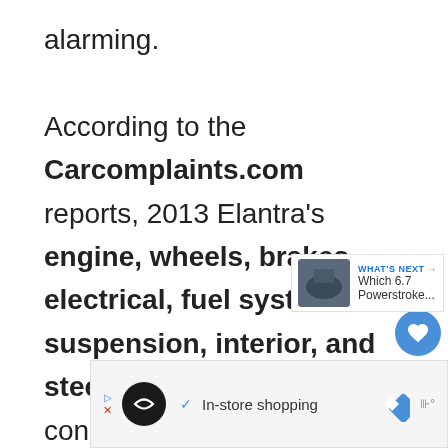alarming. According to the Carcomplaints.com reports, 2013 Elantra's engine, wheels, brakes, electrical, fuel system suspension, interior, and steering are the most concerning area, which alternatively means this year's models are full of concerns.